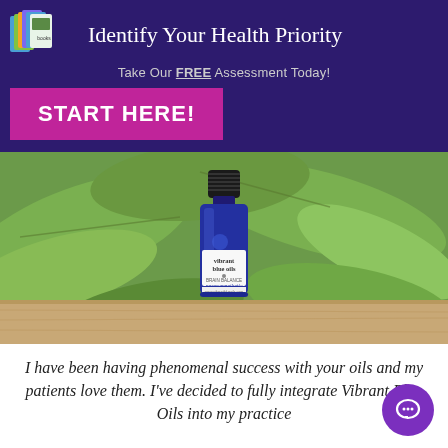Identify Your Health Priority
Take Our FREE Assessment Today!
START HERE!
[Figure (photo): Small blue glass bottle of Vibrant Blue Oils parasympathetic essential oil blend, placed on a wooden surface with green tropical plant leaves in the background.]
I have been having phenomenal success with your oils and my patients love them. I've decided to fully integrate Vibrant Blue Oils into my practice